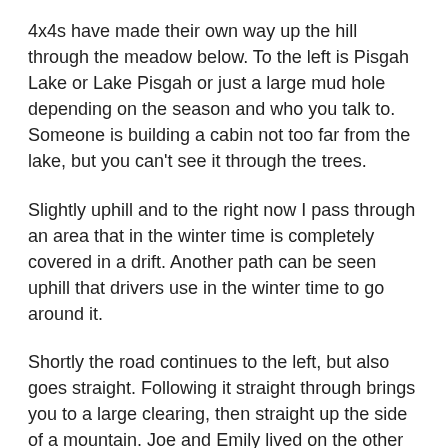4x4s have made their own way up the hill through the meadow below. To the left is Pisgah Lake or Lake Pisgah or just a large mud hole depending on the season and who you talk to. Someone is building a cabin not too far from the lake, but you can't see it through the trees.
Slightly uphill and to the right now I pass through an area that in the winter time is completely covered in a drift. Another path can be seen uphill that drivers use in the winter time to go around it.
Shortly the road continues to the left, but also goes straight. Following it straight through brings you to a large clearing, then straight up the side of a mountain. Joe and Emily lived on the other side of that mountain and we used to drive their 1942 Dodge ambulance right up Lloyd Hill, park on the top and walk down to their cabin. Calling it Lloyd Hill was some private joke between my father and Lloyd and nobody else understood this but it had to do with th...